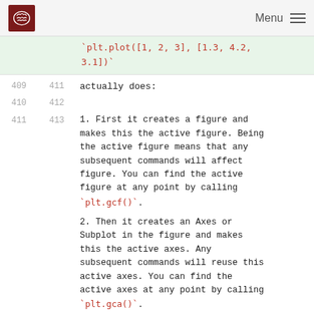Menu
`plt.plot([1, 2, 3], [1.3, 4.2, 3.1])`
actually does:
1. First it creates a figure and makes this the active figure. Being the active figure means that any subsequent commands will affect figure. You can find the active figure at any point by calling `plt.gcf()`.
2. Then it creates an Axes or Subplot in the figure and makes this the active axes. Any subsequent commands will reuse this active axes. You can find the active axes at any point by calling `plt.gca()`.
3. Finally it creates a Line2D artist containing the x-coordinates